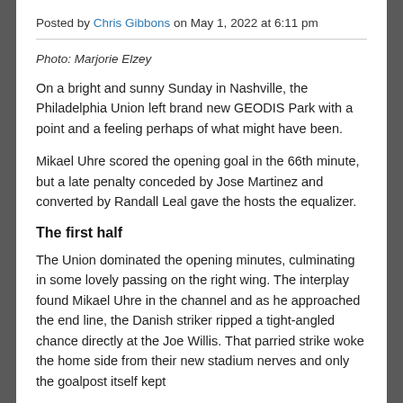Posted by Chris Gibbons on May 1, 2022 at 6:11 pm
Photo: Marjorie Elzey
On a bright and sunny Sunday in Nashville, the Philadelphia Union left brand new GEODIS Park with a point and a feeling perhaps of what might have been.
Mikael Uhre scored the opening goal in the 66th minute, but a late penalty conceded by Jose Martinez and converted by Randall Leal gave the hosts the equalizer.
The first half
The Union dominated the opening minutes, culminating in some lovely passing on the right wing. The interplay found Mikael Uhre in the channel and as he approached the end line, the Danish striker ripped a tight-angled chance directly at the Joe Willis. That parried strike woke the home side from their new stadium nerves and only the goalpost itself kept